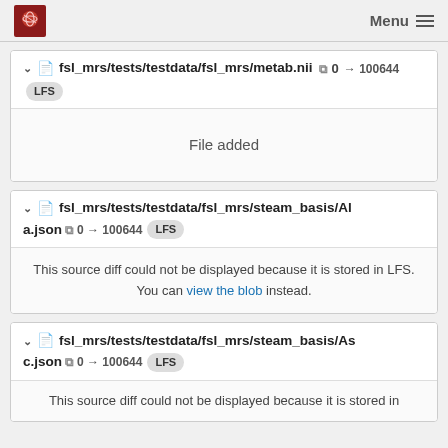Menu
fsl_mrs/tests/testdata/fsl_mrs/metab.nii  0 → 100644  LFS
File added
fsl_mrs/tests/testdata/fsl_mrs/steam_basis/Ala.json  0 → 100644  LFS
This source diff could not be displayed because it is stored in LFS. You can view the blob instead.
fsl_mrs/tests/testdata/fsl_mrs/steam_basis/Asc.json  0 → 100644  LFS
This source diff could not be displayed because it is stored in